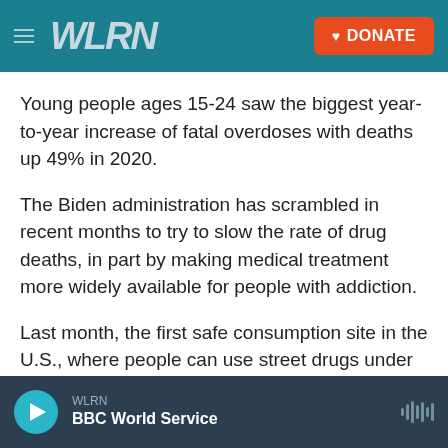WLRN | DONATE
Young people ages 15-24 saw the biggest year-to-year increase of fatal overdoses with deaths up 49% in 2020.
The Biden administration has scrambled in recent months to try to slow the rate of drug deaths, in part by making medical treatment more widely available for people with addiction.
Last month, the first safe consumption site in the U.S., where people can use street drugs under medical supervision, opened in New York City.
WLRN | BBC World Service